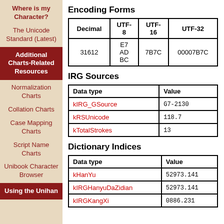Where is my Character?
The Unicode Standard (Latest)
Additional Charts-Related Resources
Normalization Charts
Collation Charts
Case Mapping Charts
Script Name Charts
Unibook Character Browser
Using the Unihan
Encoding Forms
| Decimal | UTF-8 | UTF-16 | UTF-32 |
| --- | --- | --- | --- |
| 31612 | E7 AD BC | 7B7C | 00007B7C |
IRG Sources
| Data type | Value |
| --- | --- |
| kIRG_GSource | G7-2130 |
| kRSUnicode | 118.7 |
| kTotalStrokes | 13 |
Dictionary Indices
| Data type | Value |
| --- | --- |
| kHanYu | 52973.141 |
| kIRGHanyuDaZidian | 52973.141 |
| kIRGKangXi | 0886.231 |